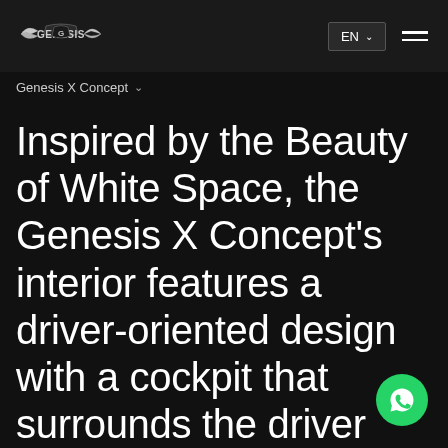[Figure (logo): Genesis brand logo — winged emblem in silver/white on dark background]
EN ∨
≡
Genesis X Concept ∨
Inspired by the Beauty of White Space, the Genesis X Concept's interior features a driver-oriented design with a cockpit that surrounds the driver with all operating systems and displays.